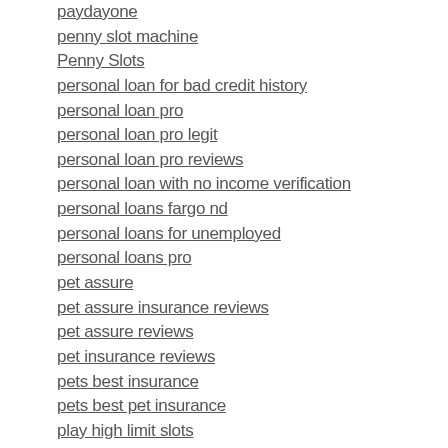paydayone
penny slot machine
Penny Slots
personal loan for bad credit history
personal loan pro
personal loan pro legit
personal loan pro reviews
personal loan with no income verification
personal loans fargo nd
personal loans for unemployed
personal loans pro
pet assure
pet assure insurance reviews
pet assure reviews
pet insurance reviews
pets best insurance
pets best pet insurance
play high limit slots
project payday